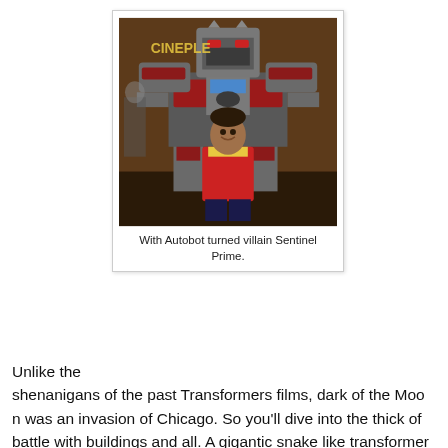[Figure (photo): A young boy in a red and yellow jacket smiles in front of a large Sentinel Prime Transformers costume/suit at what appears to be a cinema or event venue. The background shows signage reading 'CINEPLE'.]
With Autobot turned villain Sentinel Prime.
Unlike the shenanigans of the past Transformers films, dark of the Moon was an invasion of Chicago. So you'll dive into the thick of battle with buildings and all. A gigantic snake like transformer